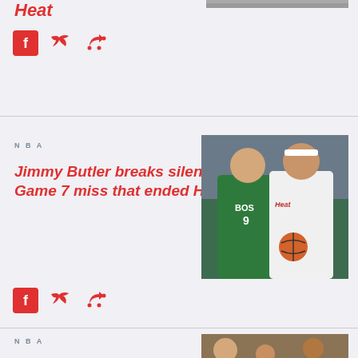Heat
[Figure (illustration): Social media share icons: Facebook, Twitter, Share - red colored]
[Figure (photo): Basketball game photo at top right, partially visible]
NBA
Jimmy Butler breaks silence on Game 7 miss that ended Heat run
[Figure (photo): Basketball players - Celtics player in green jersey and Heat player in white jersey with Heat logo, both reaching for ball]
[Figure (illustration): Social media share icons: Facebook, Twitter, Share - red colored]
NBA
[Figure (photo): Bottom right photo partially visible, crowd scene at basketball game]